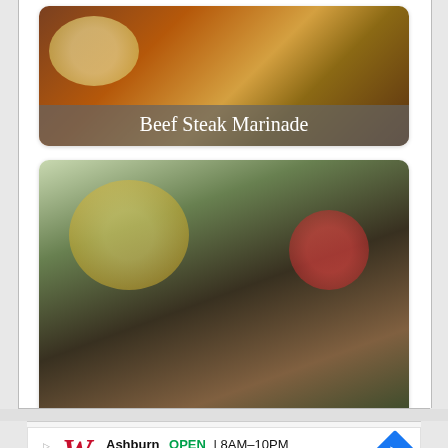[Figure (photo): Beef steak with herb butter and sides, photo with label overlay 'Beef Steak Marinade']
[Figure (photo): Carne asada platter with avocado, tomatoes, greens, and tortillas, label overlay 'Easy Carne Asada Recipe [Mexican Skirt Steak]']
[Figure (infographic): Social sharing buttons: Facebook, Twitter, Email, Pinterest, More (+)]
[Figure (infographic): Walgreens advertisement: Ashburn OPEN 8AM-10PM, 20321 Susan Leslie Dr, Ashburn]